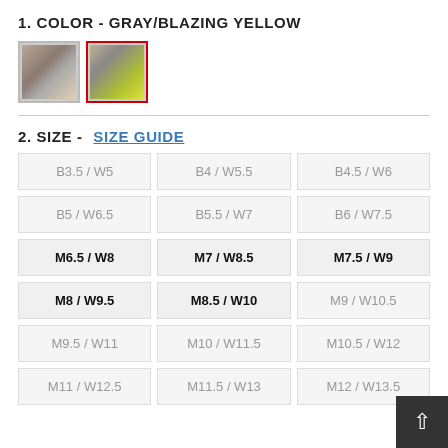1. COLOR - GRAY/BLAZING YELLOW
[Figure (photo): Two shoe thumbnail images side by side; second one selected with red border]
2. SIZE - SIZE GUIDE
| B3.5 / W5 | B4 / W5.5 | B4.5 / W6 |
| B5 / W6.5 | B5.5 / W7 | B6 / W7.5 |
| M6.5 / W8 | M7 / W8.5 | M7.5 / W9 |
| M8 / W9.5 | M8.5 / W10 | M9 / W10.5 |
| M9.5 / W11 | M10 / W11.5 | M10.5 / W12 |
| M11 / W12.5 | M11.5 / W13 | M12 / W13.5 |